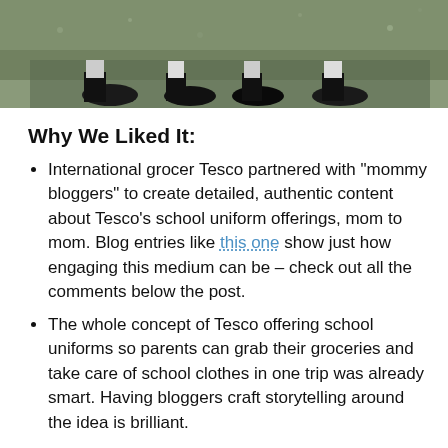[Figure (photo): Photo showing children's feet and shoes standing on a path with gravel, wearing school shoes and socks.]
Why We Liked It:
International grocer Tesco partnered with “mommy bloggers” to create detailed, authentic content about Tesco’s school uniform offerings, mom to mom. Blog entries like this one show just how engaging this medium can be – check out all the comments below the post.
The whole concept of Tesco offering school uniforms so parents can grab their groceries and take care of school clothes in one trip was already smart. Having bloggers craft storytelling around the idea is brilliant.